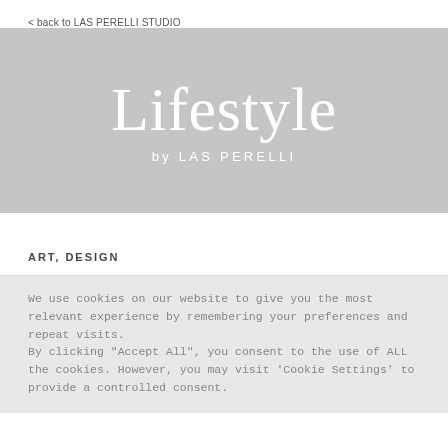< back to LAS PERELLI STUDIO
[Figure (logo): Gray banner with 'Lifestyle by LAS PERELLI' text in white. 'Lifestyle' in large serif font, 'by LAS PERELLI' in smaller spaced sans-serif below.]
ART, DESIGN
We use cookies on our website to give you the most relevant experience by remembering your preferences and repeat visits.
By clicking "Accept All", you consent to the use of ALL the cookies. However, you may visit 'Cookie Settings' to provide a controlled consent.